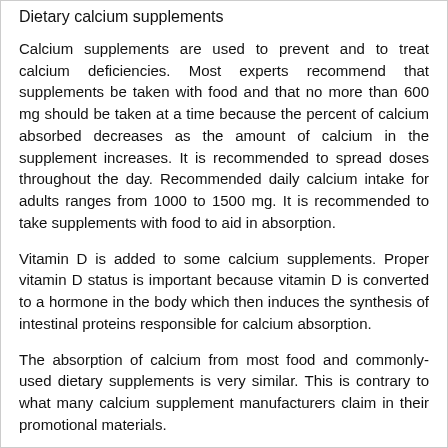Dietary calcium supplements
Calcium supplements are used to prevent and to treat calcium deficiencies. Most experts recommend that supplements be taken with food and that no more than 600 mg should be taken at a time because the percent of calcium absorbed decreases as the amount of calcium in the supplement increases. It is recommended to spread doses throughout the day. Recommended daily calcium intake for adults ranges from 1000 to 1500 mg. It is recommended to take supplements with food to aid in absorption.
Vitamin D is added to some calcium supplements. Proper vitamin D status is important because vitamin D is converted to a hormone in the body which then induces the synthesis of intestinal proteins responsible for calcium absorption.
The absorption of calcium from most food and commonly-used dietary supplements is very similar. This is contrary to what many calcium supplement manufacturers claim in their promotional materials.
Milk is an excellent source of dietary calcium because it